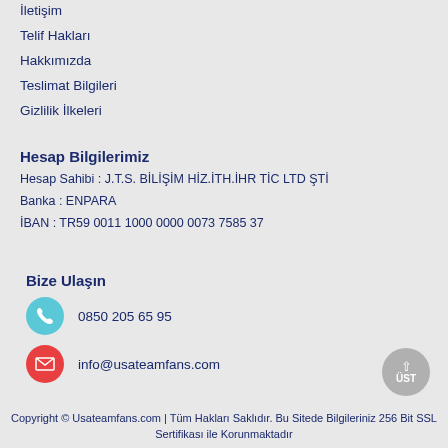İletişim
Telif Hakları
Hakkımızda
Teslimat Bilgileri
Gizlilik İlkeleri
Hesap Bilgilerimiz
Hesap Sahibi : J.T.S. BİLİŞİM HİZ.İTH.İHR TİC LTD ŞTİ
Banka : ENPARA
İBAN : TR59 0011 1000 0000 0073 7585 37
Bize Ulaşın
0850 205 65 95
info@usateamfans.com
Copyright © Usateamfans.com | Tüm Hakları Saklıdır. Bu Sitede Bilgileriniz 256 Bit SSL Sertifikası ile Korunmaktadır